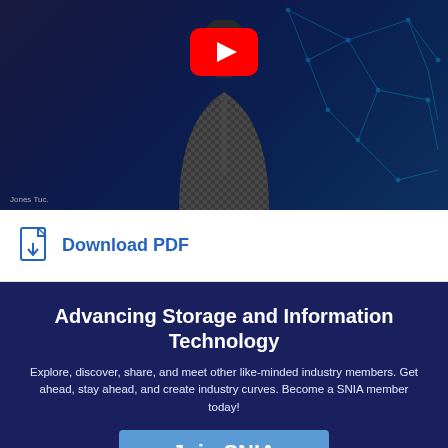[Figure (screenshot): YouTube video thumbnail showing a man in a checkered shirt against a dark blue background with a cyan network/technology graphic overlay. A red YouTube play button is visible at the top center. A timestamp label is visible at the bottom left.]
Download PDF
Advancing Storage and Information Technology
Explore, discover, share, and meet other like-minded industry members. Get ahead, stay ahead, and create industry curves. Become a SNIA member today!
Join SNIA